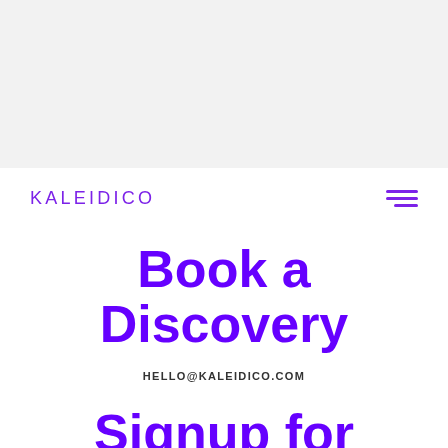[Figure (photo): Large light gray banner/placeholder image area at the top of the page]
KALEIDICO
Book a Discovery
HELLO@KALEIDICO.COM
Signup for